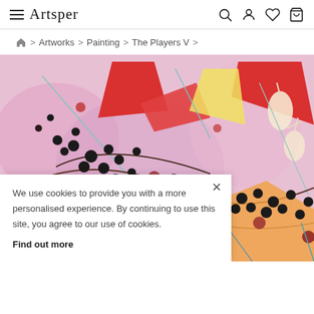Artsper — navigation header with hamburger menu, logo, search, account, wishlist, and cart icons
Artworks > Painting > The Players V >
[Figure (photo): Abstract colorful painting 'The Players V' showing circles, dots, curved lines, and geometric shapes in pink, red, orange, yellow, teal, and white on a light pink background]
We use cookies to provide you with a more personalised experience. By continuing to use this site, you agree to our use of cookies. Find out more